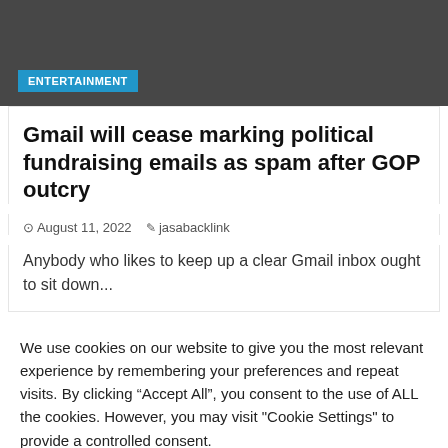ENTERTAINMENT
Gmail will cease marking political fundraising emails as spam after GOP outcry
August 11, 2022  jasabacklink
Anybody who likes to keep up a clear Gmail inbox ought to sit down...
We use cookies on our website to give you the most relevant experience by remembering your preferences and repeat visits. By clicking “Accept All”, you consent to the use of ALL the cookies. However, you may visit "Cookie Settings" to provide a controlled consent.
Cookie Settings  Accept All